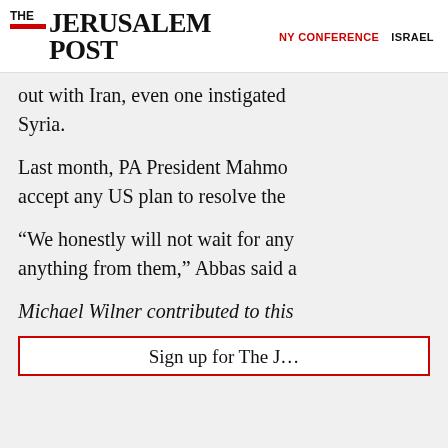THE JERUSALEM POST | NY CONFERENCE | ISRAEL
out with Iran, even one instigated Syria.
Last month, PA President Mahmo accept any US plan to resolve the
“We honestly will not wait for any anything from them,” Abbas said a
Michael Wilner contributed to this
Sign up for The J…